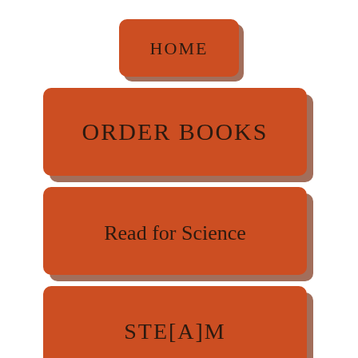[Figure (infographic): Navigation menu with four orange/red rounded rectangle buttons stacked vertically: HOME (small, top center), ORDER BOOKS (wide), Read for Science (wide), STE[A]M (wide). Each button has a drop shadow effect giving a 3D appearance.]
HOME
ORDER BOOKS
Read for Science
STE[A]M